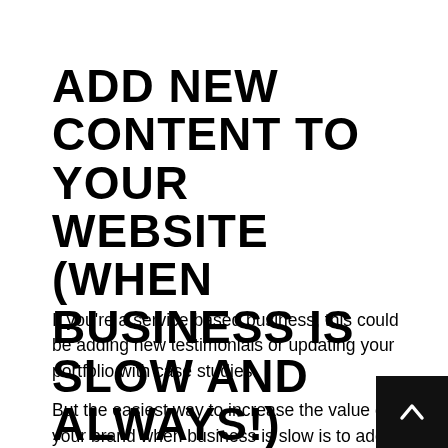ADD NEW CONTENT TO YOUR WEBSITE (WHEN BUSINESS IS SLOW AND ALWAYS!)
If you're a service based business, this could be adding new testimonials or updating your portfolio with case studies.
But the easiest way to increase the value of your brand when business is slow is to add valuable content.
Blog!
Now there are a lot of ways you can blog, and I'm not